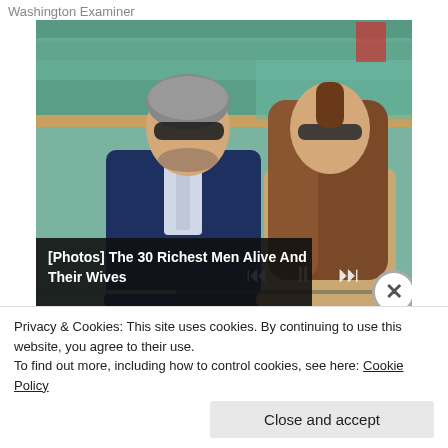Washington Examiner
[Figure (photo): Two people sitting in stadium seats. On the left, an older man with grey hair and sunglasses wearing a dark navy suit with a light tie. On the right, a young woman with long brown hair wearing sunglasses and a beige/tan outfit with a pink flower accessory. Green stadium seats visible in the background.]
[Photos] The 30 Richest Men Alive And Their Wives
Privacy & Cookies: This site uses cookies. By continuing to use this website, you agree to their use.
To find out more, including how to control cookies, see here: Cookie Policy
Close and accept